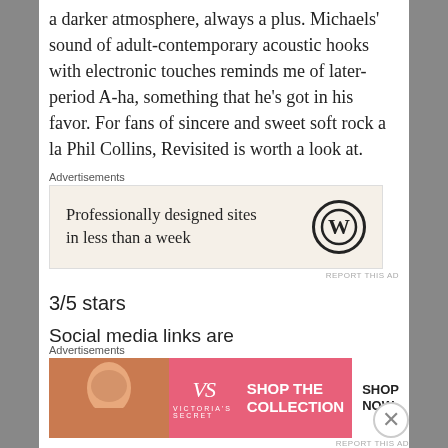a darker atmosphere, always a plus. Michaels' sound of adult-contemporary acoustic hooks with electronic touches reminds me of later-period A-ha, something that he's got in his favor. For fans of sincere and sweet soft rock a la Phil Collins, Revisited is worth a look at.
[Figure (screenshot): WordPress advertisement: 'Professionally designed sites in less than a week' with WordPress logo on beige background]
3/5 stars
Social media links are
https://www.instagram.com/andymichaelsmusic/
https://twitter.com/AndysMusicCo
[Figure (screenshot): Victoria's Secret advertisement: 'SHOP THE COLLECTION' with SHOP NOW button, pink background with model photo]